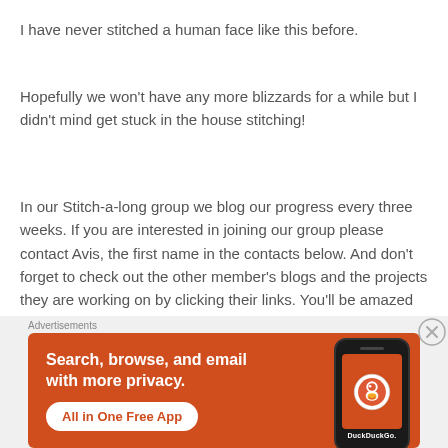I have never stitched a human face like this before.
Hopefully we won't have any more blizzards for a while but I didn't mind get stuck in the house stitching!
In our Stitch-a-long group we blog our progress every three weeks. If you are interested in joining our group please contact Avis, the first name in the contacts below. And don't forget to check out the other member's blogs and the projects they are working on by clicking their links. You'll be amazed at the talent.
Advertisements
[Figure (infographic): DuckDuckGo advertisement banner with orange background. Text reads: Search, browse, and email with more privacy. All in One Free App. Shows a phone with DuckDuckGo logo.]